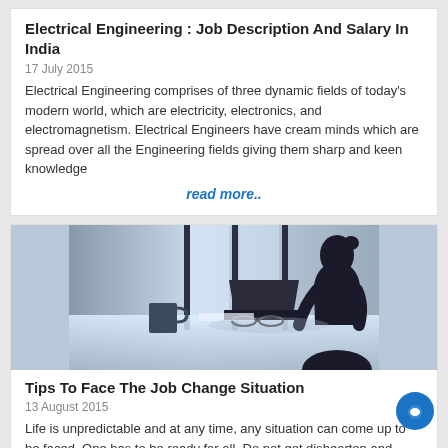Electrical Engineering : Job Description And Salary In India
17 July 2015
Electrical Engineering comprises of three dynamic fields of today's modern world, which are electricity, electronics, and electromagnetism. Electrical Engineers have cream minds which are spread over all the Engineering fields giving them sharp and keen knowledge
read more..
[Figure (photo): Silhouette of a stressed person sitting at a desk with head in hands, laptop and glasses on table, blue-toned lighting from window behind]
Tips To Face The Job Change Situation
13 August 2015
Life is unpredictable and at any time, any situation can come up to be faced. One has to be ready for all. Do not get dishearten and neither do not be stressful. Job change is the situation that has to be faced by al Try to remain in your own sanity and avoid panicking